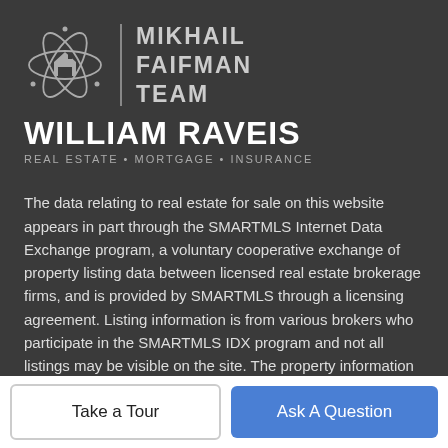[Figure (logo): Mikhail Faifman Team - William Raveis Real Estate Mortgage Insurance logo with atomic orbit house icon]
The data relating to real estate for sale on this website appears in part through the SMARTMLS Internet Data Exchange program, a voluntary cooperative exchange of property listing data between licensed real estate brokerage firms, and is provided by SMARTMLS through a licensing agreement. Listing information is from various brokers who participate in the SMARTMLS IDX program and not all listings may be visible on the site. The property information being provided on or through the website is for the personal, non-commercial use of consumers and such information
Take a Tour
Ask A Question